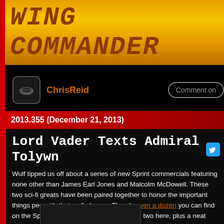WING COMMANDER
ChrisReid
2013.355 (December 21, 2013)
Lord Vader Texts Admiral Tolywn
Wulf tipped us off about a series of new Sprint commercials featuring none other than James Earl Jones and Malcolm McDowell. These two sci-fi greats have been paired together to honor the important things people do with their cell phones. There's oven a dozen you can find on the Sprint YouTube channel. We've posted two here, plus a neat behind-the-scenes look on the bottom. It's even funnier if you imagine the middle one is actually a Facebook conversation between Vader and Tolwyn!